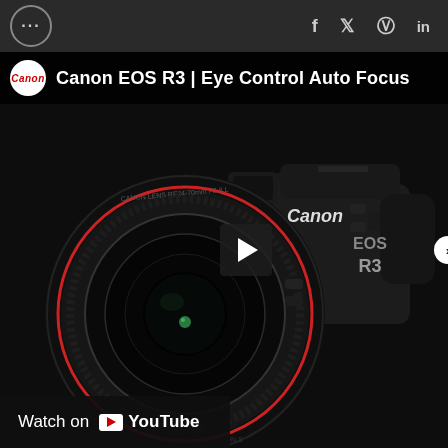... f y p in
[Figure (screenshot): YouTube video embed of Canon EOS R3 | Eye Control Auto Focus. Shows a black Canon EOS R3 mirrorless camera with a large lens (Canon Lens RF24-70mm) against a dark background. Canon logo and EOS R3 text visible on camera. Play button overlay in center-right. 'Watch on YouTube' bar at bottom left. Canon channel logo and video title at top.]